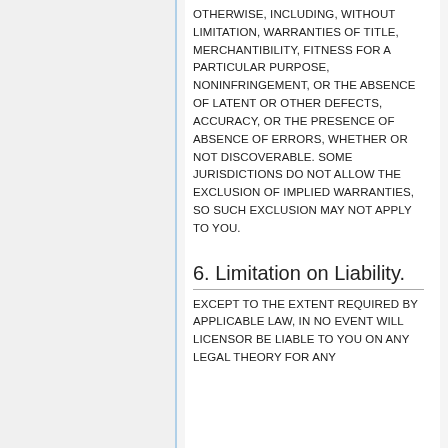OTHERWISE, INCLUDING, WITHOUT LIMITATION, WARRANTIES OF TITLE, MERCHANTIBILITY, FITNESS FOR A PARTICULAR PURPOSE, NONINFRINGEMENT, OR THE ABSENCE OF LATENT OR OTHER DEFECTS, ACCURACY, OR THE PRESENCE OF ABSENCE OF ERRORS, WHETHER OR NOT DISCOVERABLE. SOME JURISDICTIONS DO NOT ALLOW THE EXCLUSION OF IMPLIED WARRANTIES, SO SUCH EXCLUSION MAY NOT APPLY TO YOU.
6. Limitation on Liability.
EXCEPT TO THE EXTENT REQUIRED BY APPLICABLE LAW, IN NO EVENT WILL LICENSOR BE LIABLE TO YOU ON ANY LEGAL THEORY FOR ANY